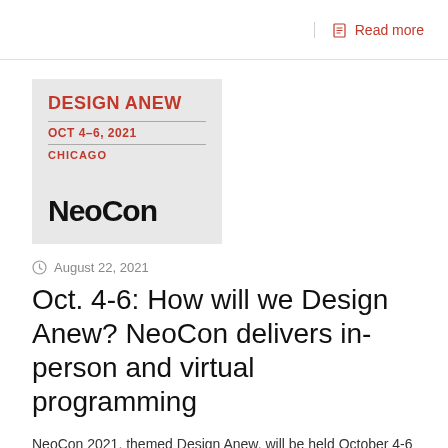Read more
[Figure (logo): NeoCon logo with text: DESIGN ANEW, OCT 4-6, 2021, CHICAGO, NeoCon]
August 22, 2021
Oct. 4-6: How will we Design Anew? NeoCon delivers in-person and virtual programming
NeoCon 2021, themed Design Anew, will be held October 4-6 at theMART in Chicago, featuring a lineup of onsite and virtual educational presentations that will explore [...]